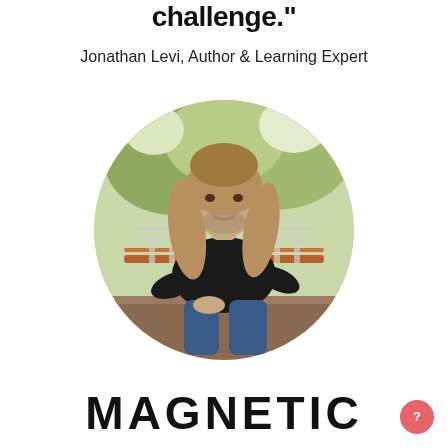challenge."
Jonathan Levi, Author & Learning Expert
[Figure (photo): Circular portrait photo of Jonathan Levi, a man with long blonde/brown hair and a beard, wearing a black shirt and jeans, sitting on a ledge outdoors with wooden railings and greenery in the background.]
MAGNETIC